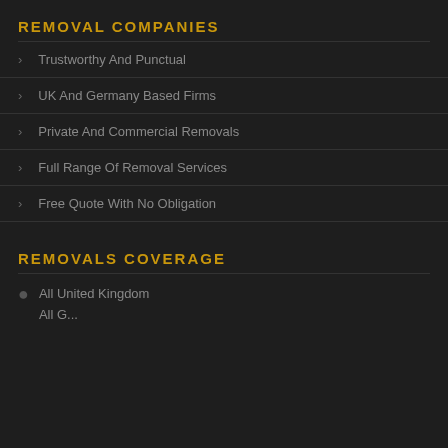REMOVAL COMPANIES
Trustworthy And Punctual
UK And Germany Based Firms
Private And Commercial Removals
Full Range Of Removal Services
Free Quote With No Obligation
REMOVALS COVERAGE
All United Kingdom
All G...